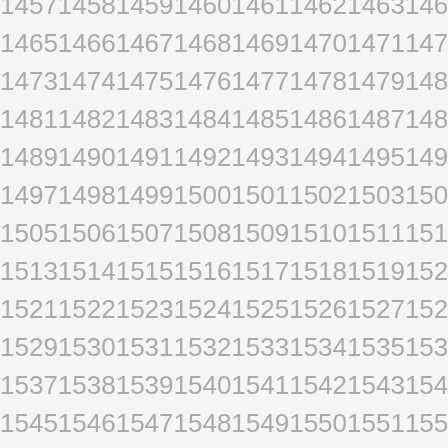14571458145914601461146214631464
14651466146714681469147014711472
14731474147514761477147814791480
14811482148314841485148614871488
14891490149114921493149414951496
14971498149915001501150215031504
15051506150715081509151015111512
15131514151515161517151815191520
15211522152315241525152615271528
15291530153115321533153415351536
15371538153915401541154215431544
15451546154715481549155015511552
15531554155515561557155815591560